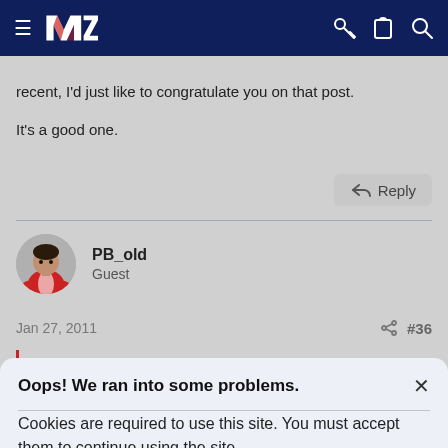Navigation bar with logo and icons
recent, I'd just like to congratulate you on that post.

It's a good one.
Reply
PB_old
Guest
Jan 27, 2011	#36
Oops! We ran into some problems.
Cookies are required to use this site. You must accept them to continue using the site.